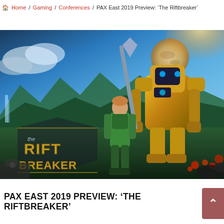Home / Gaming / Conferences / PAX East 2019 Preview: 'The Riftbreaker'
[Figure (illustration): The Riftbreaker game key art showing a female character in sci-fi armor with a large yellow mech robot behind her, set on an alien planet with a giant moon, lush landscape, and the game logo 'The Riftbreaker' prominently displayed on the left side.]
PAX EAST 2019 PREVIEW: 'THE RIFTBREAKER'